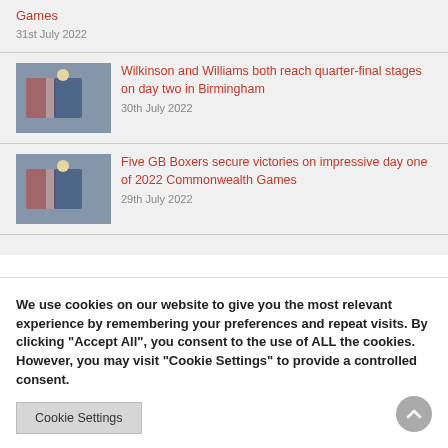Games
31st July 2022
[Figure (photo): Boxing match photo - Wilkinson and Williams article thumbnail]
Wilkinson and Williams both reach quarter-final stages on day two in Birmingham
30th July 2022
[Figure (photo): Boxing match photo - Five GB Boxers article thumbnail]
Five GB Boxers secure victories on impressive day one of 2022 Commonwealth Games
29th July 2022
We use cookies on our website to give you the most relevant experience by remembering your preferences and repeat visits. By clicking "Accept All", you consent to the use of ALL the cookies. However, you may visit "Cookie Settings" to provide a controlled consent.